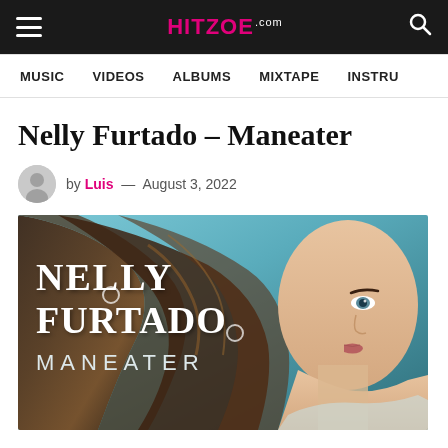HITZOE.COM
MUSIC   VIDEOS   ALBUMS   MIXTAPE   INSTRU…
Nelly Furtado – Maneater
by Luis — August 3, 2022
[Figure (photo): Nelly Furtado Maneater album cover: woman with flowing dark hair against teal background, text reads NELLY FURTADO MANEATER]